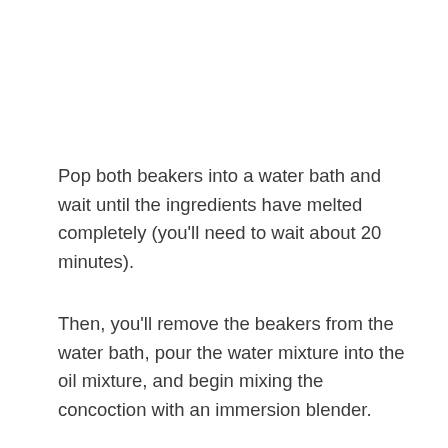Pop both beakers into a water bath and wait until the ingredients have melted completely (you'll need to wait about 20 minutes).
Then, you'll remove the beakers from the water bath, pour the water mixture into the oil mixture, and begin mixing the concoction with an immersion blender.